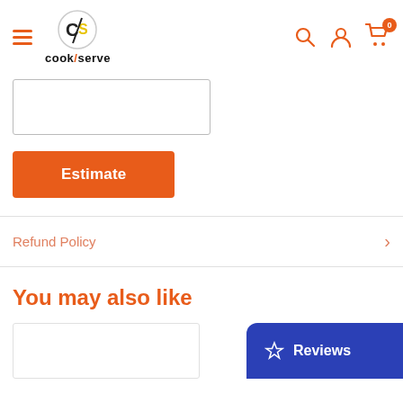[Figure (logo): CookServe logo with CS monogram circle and text 'cook/serve']
[Figure (screenshot): Empty zip code input field with border]
Estimate
Refund Policy
You may also like
[Figure (screenshot): Product card area at bottom with Reviews button]